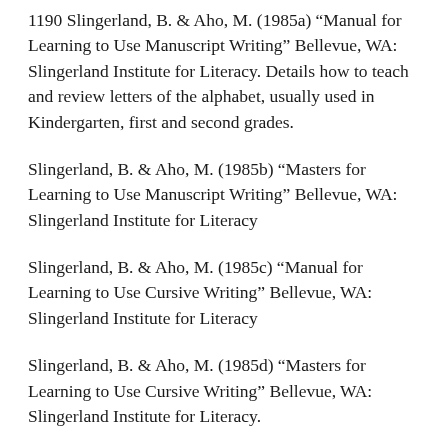1190 Slingerland, B. & Aho, M. (1985a) "Manual for Learning to Use Manuscript Writing" Bellevue, WA: Slingerland Institute for Literacy. Details how to teach and review letters of the alphabet, usually used in Kindergarten, first and second grades.
Slingerland, B. & Aho, M. (1985b) "Masters for Learning to Use Manuscript Writing" Bellevue, WA: Slingerland Institute for Literacy
Slingerland, B. & Aho, M. (1985c) "Manual for Learning to Use Cursive Writing" Bellevue, WA: Slingerland Institute for Literacy
Slingerland, B. & Aho, M. (1985d) "Masters for Learning to Use Cursive Writing" Bellevue, WA: Slingerland Institute for Literacy.